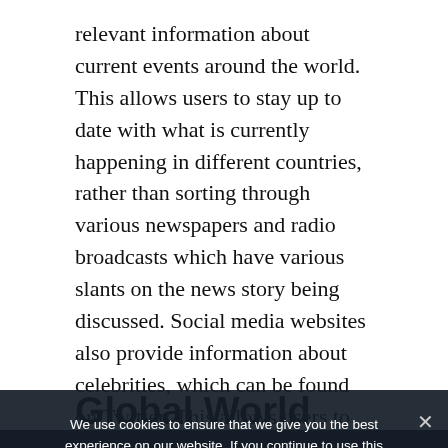relevant information about current events around the world. This allows users to stay up to date with what is currently happening in different countries, rather than sorting through various newspapers and radio broadcasts which have various slants on the news story being discussed. Social media websites also provide information about celebrities, which can be found on Twitter. This allows users to stay connected with celebrities and follow their personal lives without actually having to meet them.
Global World
We use cookies to ensure that we give you the best experience on our website. If you continue to use this site we will assume that you are happy with it.